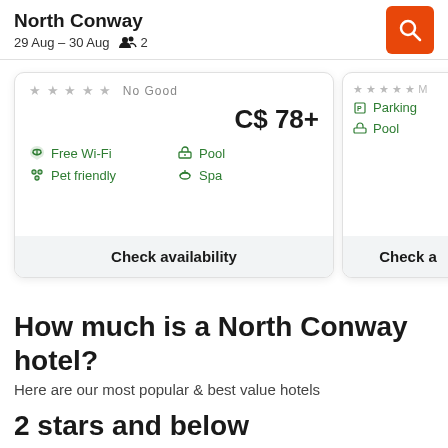North Conway
29 Aug – 30 Aug  2
C$ 78+
Free Wi-Fi
Pet friendly
Pool
Spa
Parking
Pool
Check availability
Check a
How much is a North Conway hotel?
Here are our most popular & best value hotels
2 stars and below